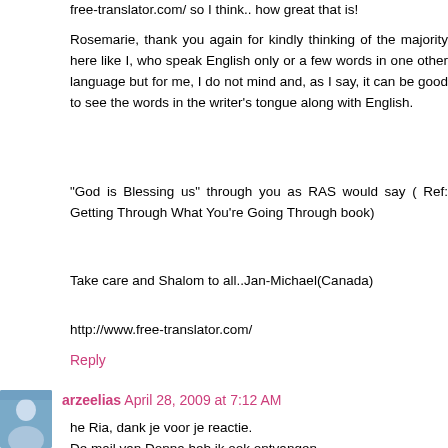free-translator.com/ so I think.. how great that is!
Rosemarie, thank you again for kindly thinking of the majority here like I, who speak English only or a few words in one other language but for me, I do not mind and, as I say, it can be good to see the words in the writer's tongue along with English.
"God is Blessing us" through you as RAS would say ( Ref: Getting Through What You're Going Through book)
Take care and Shalom to all..Jan-Michael(Canada)
http://www.free-translator.com/
Reply
arzeelias April 28, 2009 at 7:12 AM
he Ria, dank je voor je reactie.
De mail van Donna heb ik ook ontvangen.
Anthony was in Nederland van de week. Heb wel de behoefte om naast HOP Nederland ondersteuning te gaan